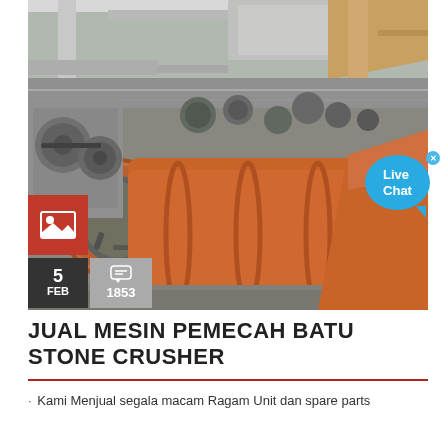[Figure (photo): Industrial stone crusher / ball mill machinery in a factory setting. Top portion shows grey metal conveyor/frame structure. Main image shows large orange/copper-colored rotating drum mill with grey machinery parts and pulleys in an industrial building.]
[Figure (illustration): Red square icon with a white image/photo placeholder icon (mountain and sun).]
5 FEB
1853
Live Chat
JUAL MESIN PEMECAH BATU STONE CRUSHER
· Kami Menjual segala macam Ragam Unit dan spare parts